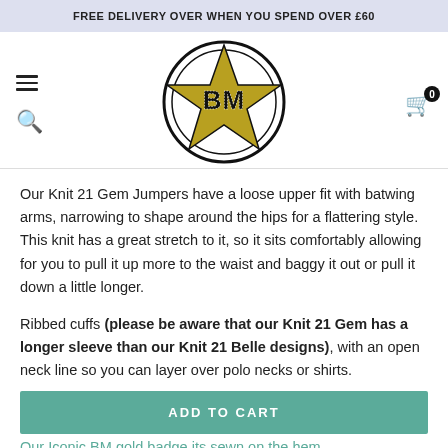FREE DELIVERY OVER WHEN YOU SPEND OVER £60
[Figure (logo): BM brand logo: a gold star with 'BM' text inside, overlaid on a circular black ring outline, forming a badge-style logo]
Our Knit 21 Gem Jumpers have a loose upper fit with batwing arms, narrowing to shape around the hips for a flattering style. This knit has a great stretch to it, so it sits comfortably allowing for you to pull it up more to the waist and baggy it out or pull it down a little longer.
Ribbed cuffs (please be aware that our Knit 21 Gem has a longer sleeve than our Knit 21 Belle designs), with an open neck line so you can layer over polo necks or shirts.
ADD TO CART
Our Iconic BM gold badge its sewn on the hem...